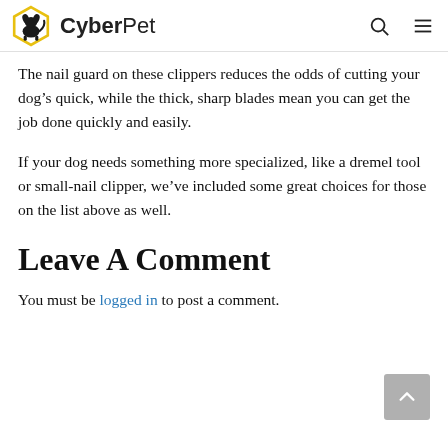CyberPet
The nail guard on these clippers reduces the odds of cutting your dog’s quick, while the thick, sharp blades mean you can get the job done quickly and easily.
If your dog needs something more specialized, like a dremel tool or small-nail clipper, we’ve included some great choices for those on the list above as well.
Leave A Comment
You must be logged in to post a comment.